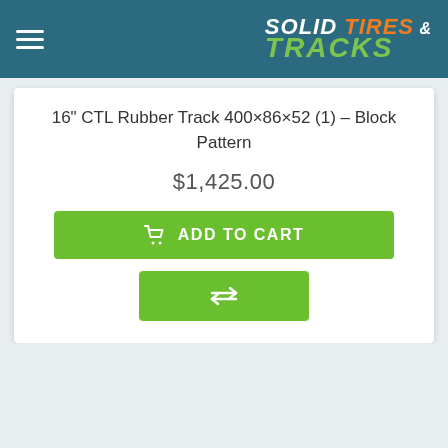SOLID TIRES & TRACKS
16" CTL Rubber Track 400×86×52 (1) – Block Pattern
$1,425.00
ADD TO CART
Information
Customer Service